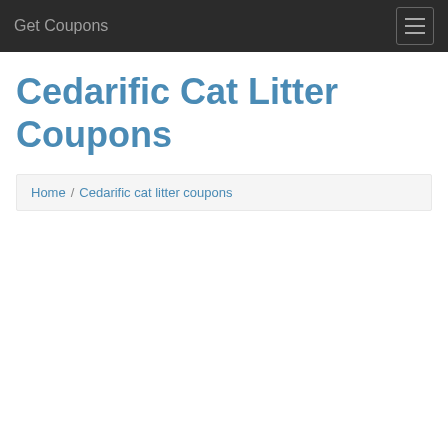Get Coupons
Cedarific Cat Litter Coupons
Home / Cedarific cat litter coupons